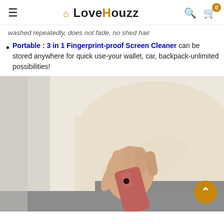LoveHouzz
washed repeatedly, does not fade, no shed hair
Portable : 3 in 1 Fingerprint-proof Screen Cleaner can be stored anywhere for quick use-your wallet, car, backpack-unlimited possibilities!
[Figure (photo): A person holding a small pink/red rectangular device (3-in-1 fingerprint-proof screen cleaner) in their hand, wearing a cream-colored long sleeve shirt and grey pants. The background is light/white.]